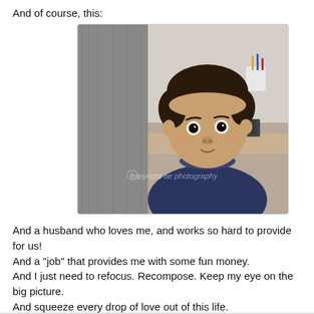And of course, this:
[Figure (photo): A young toddler/baby with short dark hair, wearing a dark navy blue sweater, sitting in front of a desk with a keyboard and cup of pens/pencils visible. A grey fabric (possibly a couch or person's clothing) is visible on the left side. A watermark reads 'copyright ae photography'.]
And a husband who loves me, and works so hard to provide for us!
And a "job" that provides me with some fun money.
And I just need to refocus. Recompose. Keep my eye on the big picture.
And squeeze every drop of love out of this life.